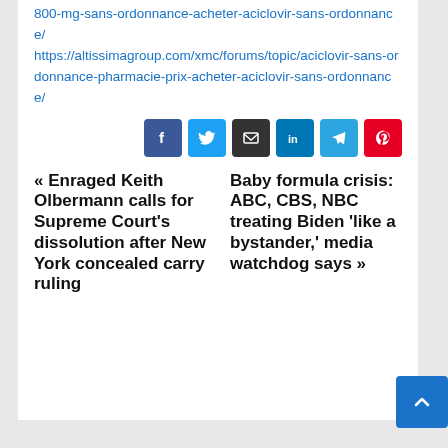800-mg-sans-ordonnance-acheter-aciclovir-sans-ordonnance/ https://altissimagroup.com/xmc/forums/topic/aciclovir-sans-ordonnance-pharmacie-prix-acheter-aciclovir-sans-ordonnance/
[Figure (other): Social share buttons: Facebook, Twitter, Email, LinkedIn, Telegram, Pinterest]
« Enraged Keith Olbermann calls for Supreme Court's dissolution after New York concealed carry ruling
Baby formula crisis: ABC, CBS, NBC treating Biden 'like a bystander,' media watchdog says »